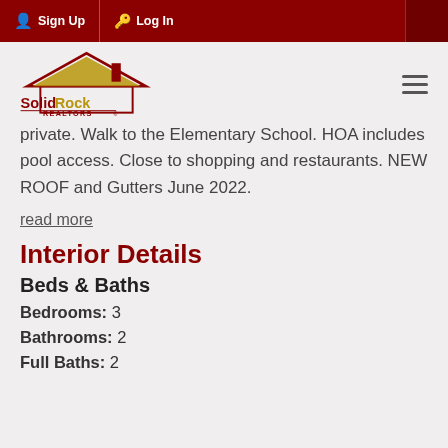Sign Up  Log In
[Figure (logo): Solid Rock Realtors logo with house icon]
private. Walk to the Elementary School. HOA includes pool access. Close to shopping and restaurants. NEW ROOF and Gutters June 2022.
read more
Interior Details
Beds & Baths
Bedrooms:  3
Bathrooms:  2
Full Baths:  2